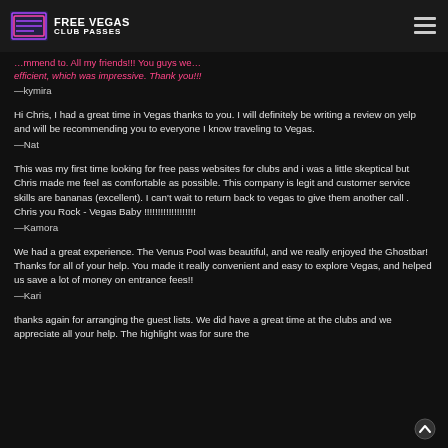FREE VEGAS CLUB PASSES
—kymira
Hi Chris, I had a great time in Vegas thanks to you. I will definitely be writing a review on yelp and will be recommending you to everyone I know traveling to Vegas.
—Nat
This was my first time looking for free pass websites for clubs and i was a little skeptical but Chris made me feel as comfortable as possible. This company is legit and customer service skills are bananas (excellent). I can't wait to return back to vegas to give them another call . Chris you Rock - Vegas Baby !!!!!!!!!!!!!!!!!!!
—Kamora
We had a great experience. The Venus Pool was beautiful, and we really enjoyed the Ghostbar! Thanks for all of your help. You made it really convenient and easy to explore Vegas, and helped us save a lot of money on entrance fees!!
—Kari
thanks again for arranging the guest lists. We did have a great time at the clubs and we appreciate all your help. The highlight was for sure the